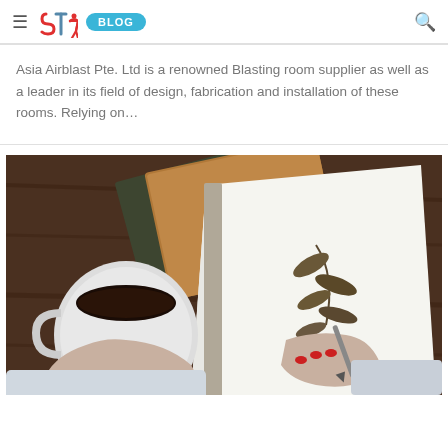≡ STI BLOG 🔍
Asia Airblast Pte. Ltd is a renowned Blasting room supplier as well as a leader in its field of design, fabrication and installation of these rooms. Relying on…
[Figure (photo): Overhead view of a person writing in an open notebook with dried leaves, holding a cup of coffee, with other notebooks on a wooden table surface.]